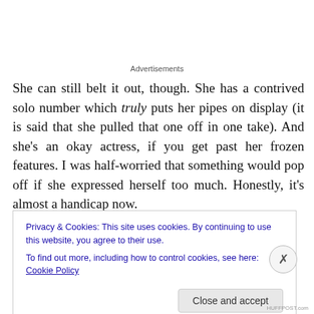Advertisements
She can still belt it out, though. She has a contrived solo number which truly puts her pipes on display (it is said that she pulled that one off in one take). And she’s an okay actress, if you get past her frozen features. I was half-worried that something would pop off if she expressed herself too much. Honestly, it’s almost a handicap now.
Privacy & Cookies: This site uses cookies. By continuing to use this website, you agree to their use.
To find out more, including how to control cookies, see here: Cookie Policy
Close and accept
HUFFPOST.com